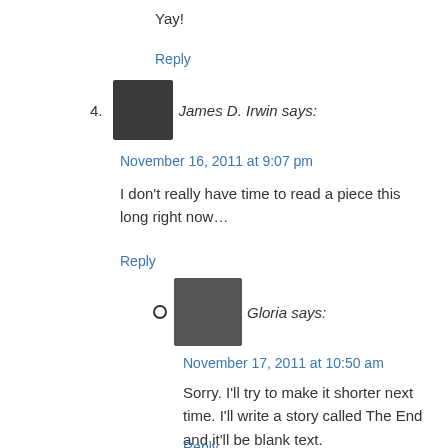Yay!
Reply
4. James D. Irwin says:
November 16, 2011 at 9:07 pm
I don't really have time to read a piece this long right now…
Reply
Gloria says:
November 17, 2011 at 10:50 am
Sorry. I'll try to make it shorter next time. I'll write a story called The End and it'll be blank text.
Reply
James D. Irwin says:
November 17, 2011 at 11:21 am
This is the end… my only friend… THE END.